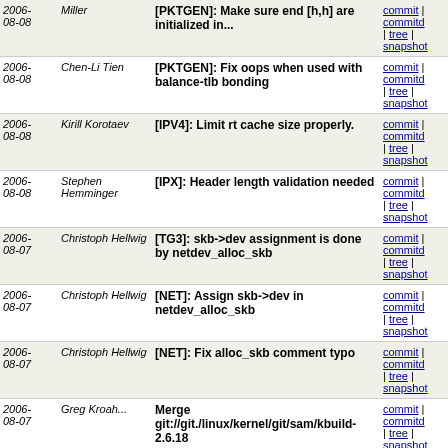| Date | Author | Message | Links |
| --- | --- | --- | --- |
| 2006-08-08 | Miller | [PKTGEN]: Make sure end [h,h] are initialized in... | commit | commitd | tree | snapshot |
| 2006-08-08 | Chen-Li Tien | [PKTGEN]: Fix oops when used with balance-tlb bonding | commit | commitd | tree | snapshot |
| 2006-08-08 | Kirill Korotaev | [IPV4]: Limit rt cache size properly. | commit | commitd | tree | snapshot |
| 2006-08-08 | Stephen Hemminger | [IPX]: Header length validation needed | commit | commitd | tree | snapshot |
| 2006-08-07 | Christoph Hellwig | [TG3]: skb->dev assignment is done by netdev_alloc_skb | commit | commitd | tree | snapshot |
| 2006-08-07 | Christoph Hellwig | [NET]: Assign skb->dev in netdev_alloc_skb | commit | commitd | tree | snapshot |
| 2006-08-07 | Christoph Hellwig | [NET]: Fix alloc_skb comment typo | commit | commitd | tree | snapshot |
| 2006-08-07 | Greg Kroah... | Merge git://git./linux/kernel/git/sam/kbuild-2.6.18 | commit | commitd | tree | snapshot |
| 2006-08-07 | Sam Ravnborg | kbuild: external modules shall not check config consistency | commit | commitd | tree | snapshot |
| 2006-08-07 | Sam Ravnborg | kbuild: do not try to build content of initramfs | commit | commitd | tree | snapshot |
| 2006-08-07 | Mark Fasheh | ocfs2: allocation hints | commit | commitd |